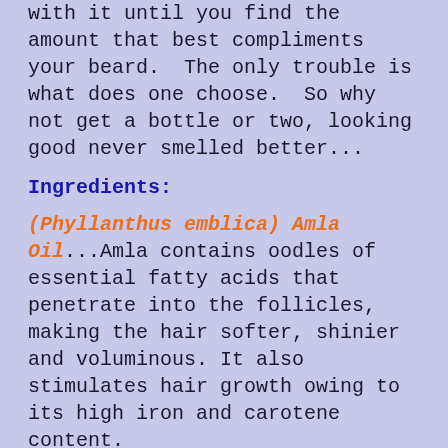with it until you find the amount that best compliments your beard.  The only trouble is what does one choose.  So why not get a bottle or two, looking good never smelled better...
Ingredients:
(Phyllanthus emblica) Amla Oil...Amla contains oodles of essential fatty acids that penetrate into the follicles, making the hair softer, shinier and voluminous. It also stimulates hair growth owing to its high iron and carotene content.
Caprylic/Capric Triglyceride...Derived from coconut oil and glycerin, it's considered an excellent emollient and skin-replenishing ingredient.
Fractionated Coconut Oil...The abundance of antioxidants in fractionated coconut oil are...